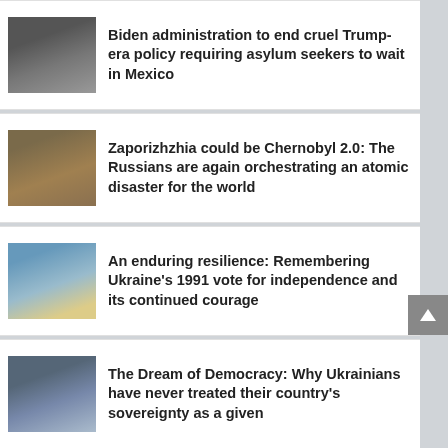Biden administration to end cruel Trump-era policy requiring asylum seekers to wait in Mexico
Zaporizhzhia could be Chernobyl 2.0: The Russians are again orchestrating an atomic disaster for the world
An enduring resilience: Remembering Ukraine’s 1991 vote for independence and its continued courage
The Dream of Democracy: Why Ukrainians have never treated their country’s sovereignty as a given
Mental Health Complex to permanently close as County fully transitions to community-based care